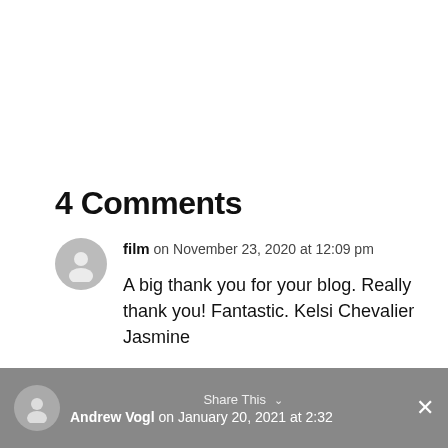4 Comments
film on November 23, 2020 at 12:09 pm
A big thank you for your blog. Really thank you! Fantastic. Kelsi Chevalier Jasmine
REPLY
Share This  Andrew Vogl on January 20, 2021 at 2:32